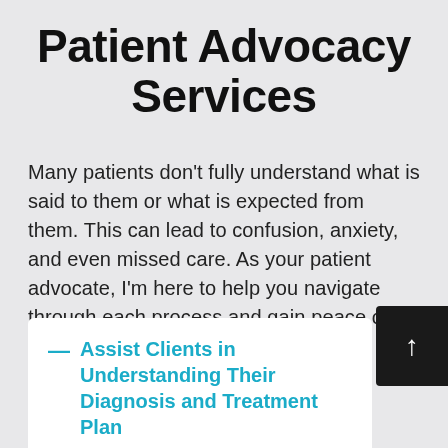Patient Advocacy Services
Many patients don't fully understand what is said to them or what is expected from them. This can lead to confusion, anxiety, and even missed care. As your patient advocate, I'm here to help you navigate through each process and gain peace of mind in the progress.
Assist Clients in Understanding Their Diagnosis and Treatment Plan
Provide information and education allowing the